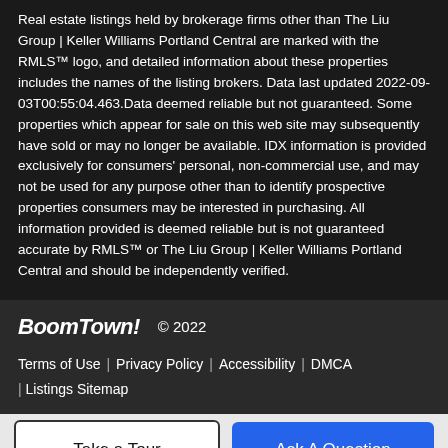Real estate listings held by brokerage firms other than The Liu Group | Keller Williams Portland Central are marked with the RMLS™ logo, and detailed information about these properties includes the names of the listing brokers. Data last updated 2022-09-03T00:55:04.463.Data deemed reliable but not guaranteed. Some properties which appear for sale on this web site may subsequently have sold or may no longer be available. IDX information is provided exclusively for consumers' personal, non-commercial use, and may not be used for any purpose other than to identify prospective properties consumers may be interested in purchasing. All information provided is deemed reliable but is not guaranteed accurate by RMLS™ or The Liu Group | Keller Williams Portland Central and should be independently verified.
BoomTown! © 2022 | Terms of Use | Privacy Policy | Accessibility | DMCA | Listings Sitemap
Take a Tour
Ask A Question